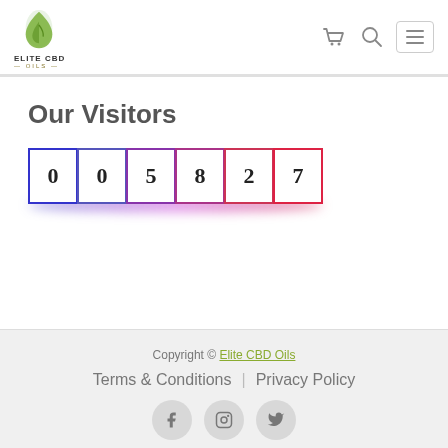[Figure (logo): Elite CBD Oils logo with green leaf drop icon and text]
Our Visitors
[Figure (infographic): Visitor counter showing 005827 in individual bordered boxes with blue-to-red gradient glow underneath]
Copyright © Elite CBD Oils | Terms & Conditions | Privacy Policy | Facebook | Instagram | Twitter